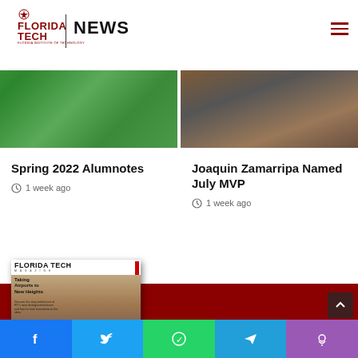Florida Tech News
[Figure (photo): Left news article thumbnail: green foliage/trees background]
[Figure (photo): Right news article thumbnail: dark bronze sculpture/statue outdoors]
Spring 2022 Alumnotes
1 week ago
Joaquin Zamarripa Named July MVP
1 week ago
[Figure (photo): Florida Tech Magazine cover: 'Taking Airports to New Heights' issue, showing a man standing on an airfield]
Social sharing buttons: Facebook, Twitter, WhatsApp, Telegram, Phone/RSS